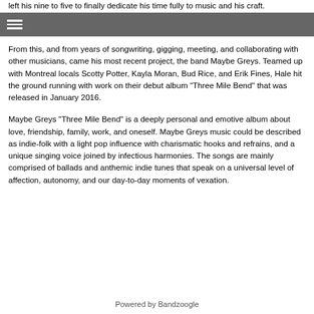left his nine to five to finally dedicate his time fully to music and his craft.
From this, and from years of songwriting, gigging, meeting, and collaborating with other musicians, came his most recent project, the band Maybe Greys. Teamed up with Montreal locals Scotty Potter, Kayla Moran, Bud Rice, and Erik Fines, Hale hit the ground running with work on their debut album  "Three Mile Bend" that was released in January 2016.
Maybe Greys "Three Mile Bend" is a deeply personal and emotive album about love, friendship, family, work, and oneself. Maybe Greys music could be described as indie-folk with a light pop influence with charismatic hooks and refrains, and a unique singing voice joined by infectious harmonies. The songs are mainly comprised of ballads and anthemic indie tunes that speak on a universal level of affection, autonomy, and our day-to-day moments of vexation.
Powered by Bandzoogle